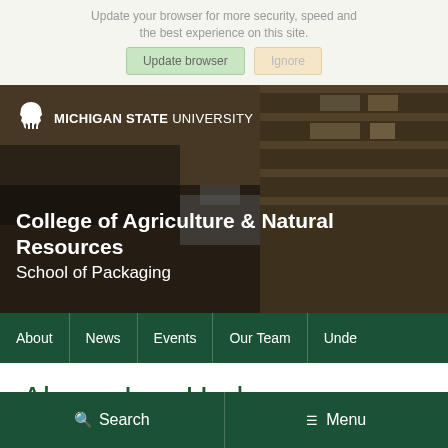Update your browser for more security, speed and the best experience on this site.
[Figure (screenshot): Michigan State University College of Agriculture & Natural Resources School of Packaging hero banner with Spartan logo and background photo of a laboratory/classroom setting]
About | News | Events | Our Team | Unde
Alyssa Lee Harben
Search  Menu